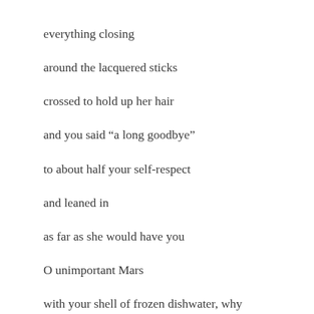everything closing
around the lacquered sticks
crossed to hold up her hair
and you said “a long goodbye”
to about half your self-respect
and leaned in
as far as she would have you
O unimportant Mars
with your shell of frozen dishwater, why
do you think she did it?